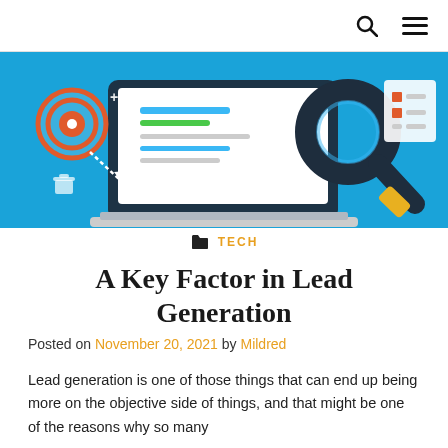🔍 ☰
[Figure (illustration): Hero banner image with blue background showing a laptop with SEO/marketing icons including a target, magnifying glass, and checklist graphics]
📁 TECH
A Key Factor in Lead Generation
Posted on November 20, 2021 by Mildred
Lead generation is one of those things that can end up being more on the objective side of things, and that might be one of the reasons why so many